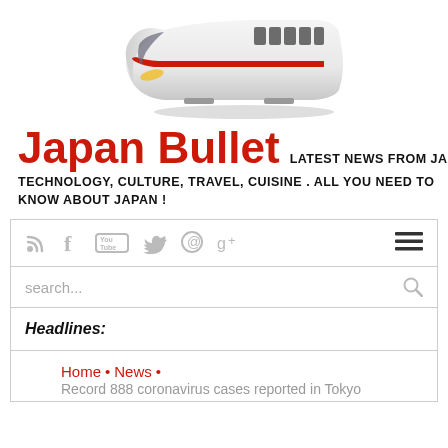[Figure (illustration): Shinkansen bullet train illustration, white with red stripe, viewed from front-left angle]
Japan Bullet LATEST NEWS FROM JAPAN ABOUT AUTO, TECHNOLOGY, CULTURE, TRAVEL, CUISINE . ALL YOU NEED TO KNOW ABOUT JAPAN !
RSS, Facebook, YouTube, Twitter, Pinterest, Google+ social icons and hamburger menu icon
search...
Headlines:
Home • News • Record 888 coronavirus cases reported in Tokyo